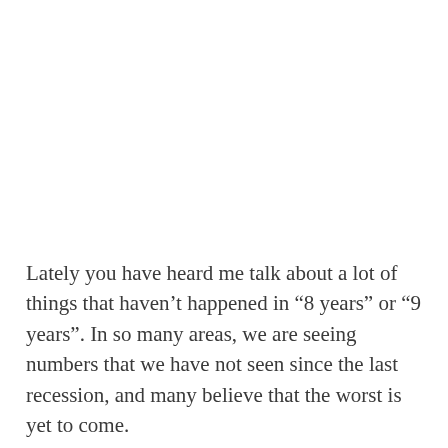Lately you have heard me talk about a lot of things that haven’t happened in “8 years” or “9 years”. In so many areas, we are seeing numbers that we have not seen since the last recession, and many believe that the worst is yet to come.